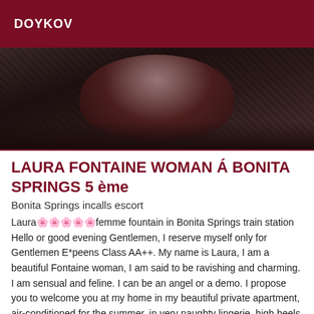DOYKOV
[Figure (photo): A woman in dark lingerie photographed from a close angle, dark background with mesh/fishnet texture visible]
LAURA FONTAINE WOMAN Á BONITA SPRINGS 5 ème
Bonita Springs incalls escort
Laura🌸🌸🌸🌸🌸femme fountain in Bonita Springs train station Hello or good evening Gentlemen, I reserve myself only for Gentlemen E*peens Class AA++. My name is Laura, I am a beautiful Fontaine woman, I am said to be ravishing and charming. I am sensual and feline. I can be an angel or a demo. I propose you to welcome you at my home in my beautiful private apartment, air-conditioned for the summer, in very naughty lingerie, high heels or waders. A parking lot not far from my house, a shower before (and after) our sex, drinks